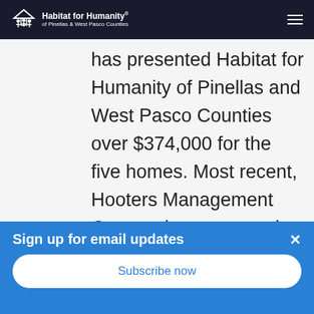Habitat for Humanity of Pinellas & West Pasco Counties
has presented Habitat for Humanity of Pinellas and West Pasco Counties over $374,000 for the five homes. Most recent, Hooters Management Corporation presented a donation of $74,500.  “We are so thankful to
Sign up for email updates
Subscribe now